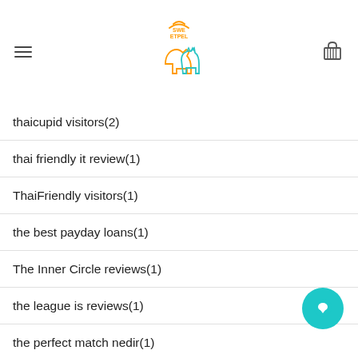Sweetpel logo with hamburger menu and basket icon
thaicupid visitors(2)
thai friendly it review(1)
ThaiFriendly visitors(1)
the best payday loans(1)
The Inner Circle reviews(1)
the league is reviews(1)
the perfect match nedir(1)
the Perfect Match visitors(1)
title loan app(1)
title loan online same day(1)